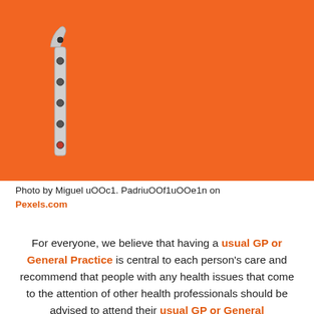[Figure (photo): Photo of a metal number '1' made from a bicycle chain link piece, placed on a bright orange background.]
Photo by Miguel uOOc1. PadriuOOf1uOOe1n on Pexels.com
For everyone, we believe that having a usual GP or General Practice is central to each person's care and recommend that people with any health issues that come to the attention of other health professionals should be advised to attend their usual GP or General